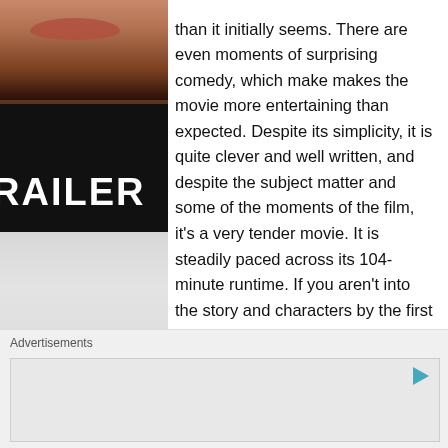[Figure (photo): Movie trailer screenshot showing a close-up of a person's face/lips at top, with dark background and the partial text 'RAILER' in large white bold letters at the bottom of the image. Below it is a grayscale street scene background.]
than it initially seems. There are even moments of surprising comedy, which make makes the movie more entertaining than expected. Despite its simplicity, it is quite clever and well written, and despite the subject matter and some of the moments of the film, it's a very tender movie. It is steadily paced across its 104-minute runtime. If you aren't into the story and characters by the first third of the movie, you might find this a tough film to watch because it really takes its time
Advertisements